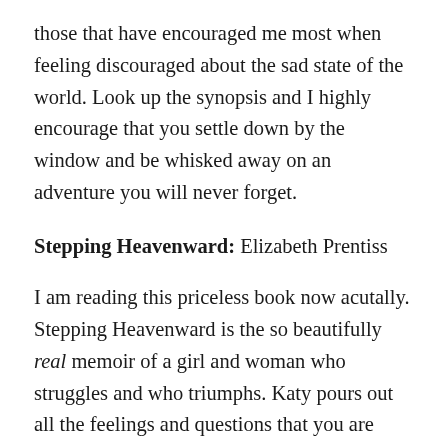those that have encouraged me most when feeling discouraged about the sad state of the world. Look up the synopsis and I highly encourage that you settle down by the window and be whisked away on an adventure you will never forget.
Stepping Heavenward: Elizabeth Prentiss
I am reading this priceless book now acutally. Stepping Heavenward is the so beautifully real memoir of a girl and woman who struggles and who triumphs. Katy pours out all the feelings and questions that you are afraid to ask. This is a beautifully intimate life of a